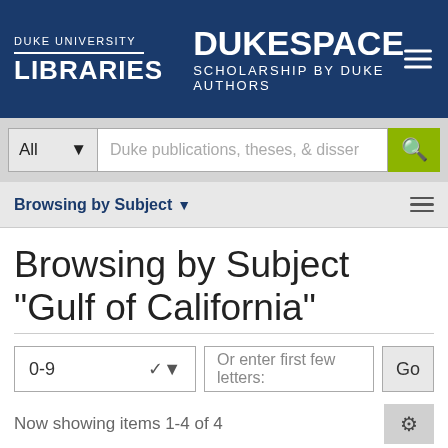DUKE UNIVERSITY LIBRARIES — DUKESPACE SCHOLARSHIP BY DUKE AUTHORS
All — Duke publications, theses, & dissertations [search box] [Go]
Browsing by Subject ▾
Browsing by Subject "Gulf of California"
0-9 [dropdown] Or enter first few letters: [input] Go
Now showing items 1-4 of 4
Institutional and Ecological Interplay for Successful Self-Governance of Community-Based Fisheries